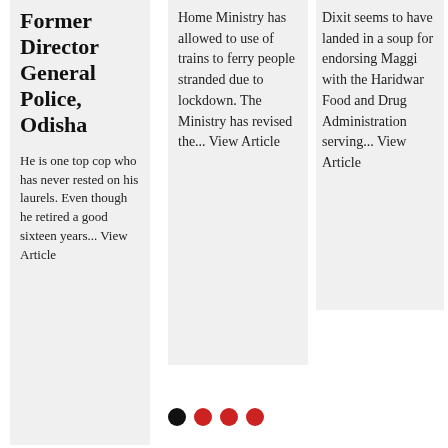Former Director General Police, Odisha
He is one top cop who has never rested on his laurels. Even though he retired a good sixteen years... View Article
Home Ministry has allowed to use of trains to ferry people stranded due to lockdown. The Ministry has revised the... View Article
Dixit seems to have landed in a soup for endorsing Maggi with the Haridwar Food and Drug Administration serving... View Article